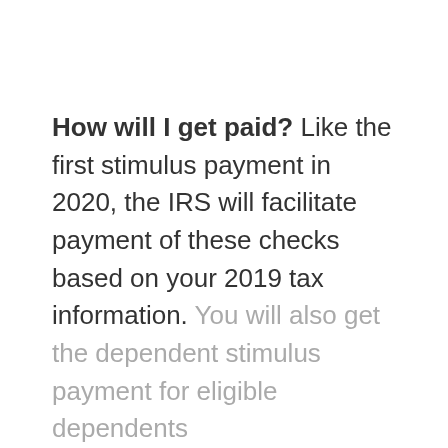How will I get paid? Like the first stimulus payment in 2020, the IRS will facilitate payment of these checks based on your 2019 tax information. You will also get the dependent stimulus payment for eligible dependents